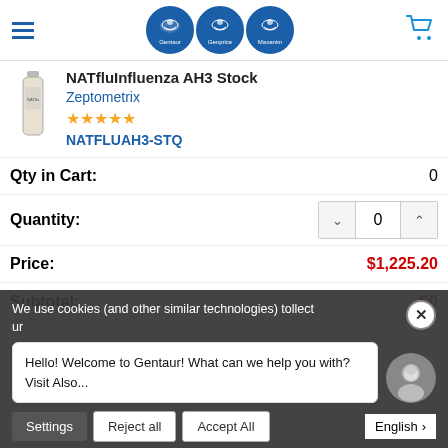Gentaur Genprice Maxanim (logos)
NATfluInfluenza AH3 Stock
Zeptometrix
★★★★★
NATFLUAH3-STQ
Qty in Cart: 0
Quantity: 0
Price: $1,225.20
Subtotal: $0
We use cookies (and other similar technologies) to collect
Hello! Welcome to Gentaur! What can we help you with?
Visit Also...
Settings  Reject all  Accept All  English >